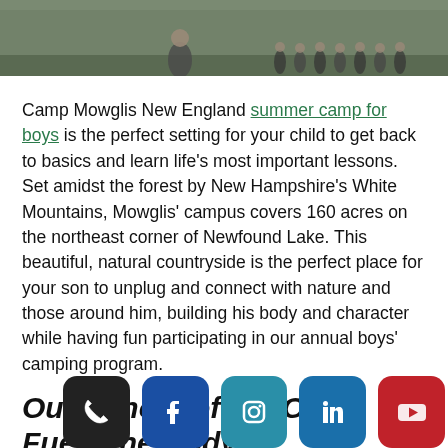[Figure (photo): Outdoor photo showing a group of boys at summer camp, lined up in a field or dirt area with trees in the background. A counselor figure is visible in the foreground.]
Camp Mowglis New England summer camp for boys is the perfect setting for your child to get back to basics and learn life's most important lessons. Set amidst the forest by New Hampshire's White Mountains, Mowglis' campus covers 160 acres on the northeast corner of Newfound Lake. This beautiful, natural countryside is the perfect place for your son to unplug and connect with nature and those around him, building his body and character while having fun participating in our annual boys' camping program.
Our School of the Open Fuels the Body and Soul
In our rustic camp se... daily life and technology, your son will flourish, growing...